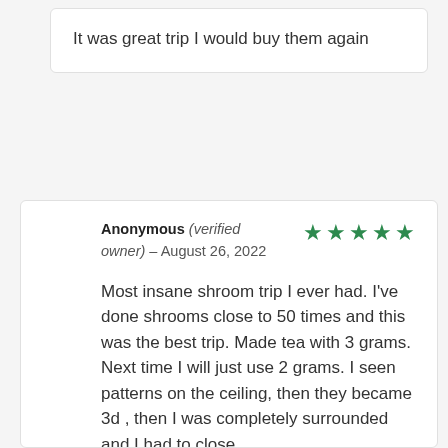It was great trip I would buy them again
Anonymous (verified owner) – August 26, 2022 ★★★★★
Most insane shroom trip I ever had. I've done shrooms close to 50 times and this was the best trip. Made tea with 3 grams. Next time I will just use 2 grams. I seen patterns on the ceiling, then they became 3d , then I was completely surrounded and I had to close